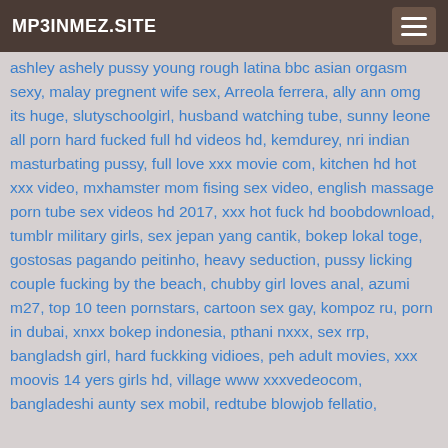MP3INMEZ.SITE
ashley ashely pussy young rough latina bbc asian orgasm sexy, malay pregnent wife sex, Arreola ferrera, ally ann omg its huge, slutyschoolgirl, husband watching tube, sunny leone all porn hard fucked full hd videos hd, kemdurey, nri indian masturbating pussy, full love xxx movie com, kitchen hd hot xxx video, mxhamster mom fising sex video, english massage porn tube sex videos hd 2017, xxx hot fuck hd boobdownload, tumblr military girls, sex jepan yang cantik, bokep lokal toge, gostosas pagando peitinho, heavy seduction, pussy licking couple fucking by the beach, chubby girl loves anal, azumi m27, top 10 teen pornstars, cartoon sex gay, kompoz ru, porn in dubai, xnxx bokep indonesia, pthani nxxx, sex rrp, bangladsh girl, hard fuckking vidioes, peh adult movies, xxx moovis 14 yers girls hd, village www xxxvedeocom, bangladeshi aunty sex mobil, redtube blowjob fellatio,